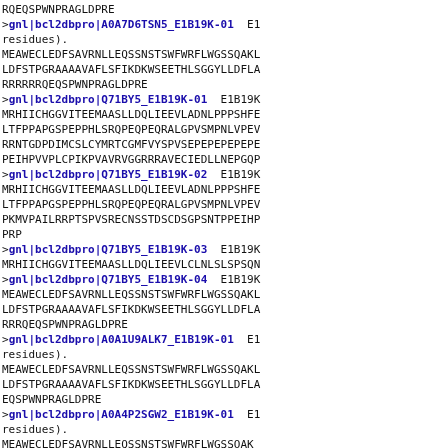RQEQSPWNPRAGLDPRE
>gnl|bcl2dbpro|A0A7D6TSN5_E1B19K-01  E1
residues).
MEAWECLEDFSAVRNLLEQSSNSTSWFWRFLWGSSQAKL
LDFSTPGRAAAAVAFLSFIKDKWSEETHLSGGYLLDFL A
RRRRRRQEQSPWNPRAGLDPRE
>gnl|bcl2dbpro|Q71BY5_E1B19K-01  E1B19K
MRHIICHGGVITEEMAASLLDQLIEEVLADNLPPPSHFE
LTFPPAPGSPEPPHLSRQPEQPEQRALGPVSMPNLVPEV
RRNTGDPDIMCSLCYMRTCGMFVYSPVSEPEPEPEPEP E
PEIHPVVPLCPIKPVAVRVGGRRRAVECIEDLLNEPGQP
>gnl|bcl2dbpro|Q71BY5_E1B19K-02  E1B19K
MRHIICHGGVITEEMAASLLDQLIEEVLADNLPPPSHFE
LTFPPAPGSPEPPHLSRQPEQPEQRALGPVSMPNLVPEV
PKMVPAILRRPTSPVSRECNSSTDSCDSGPSNTPPEIHP
PRP
>gnl|bcl2dbpro|Q71BY5_E1B19K-03  E1B19K
MRHIICHGGVITEEMAASLLDQLIEEVLCLNLSLSPSQN
>gnl|bcl2dbpro|Q71BY5_E1B19K-04  E1B19K
MEAWECLEDFSAVRNLLEQSSNSTSWFWRFLWGSSQAKL
LDFSTPGRAAAAVAFLSFIKDKWSEETHLSGGYLLDFL A
RRRQEQSPWNPRAGLDPRE
>gnl|bcl2dbpro|A0A1U9ALK7_E1B19K-01  E1
residues).
MEAWECLEDFSAVRNLLEQSSNSTSWFWRFLWGSSQAKL
LDFSTPGRAAAAVAFLSFIKDKWSEETHLSGGYLLDFL A
EQSPWNPRAGLDPRE
>gnl|bcl2dbpro|A0A4P2SGW2_E1B19K-01  E1
residues).
MEAWECLEDFSAVRNLLEQSSNSTSWFWRFLWGSSOAK